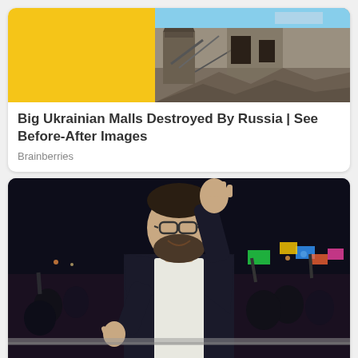[Figure (photo): News card image: left half is yellow background, right half shows a destroyed/bombed Ukrainian mall with rubble and debris]
Big Ukrainian Malls Destroyed By Russia | See Before-After Images
Brainberries
[Figure (photo): Chile's new president Gabriel Boric raising his hand in celebration, standing before a large cheering crowd at night, wearing a dark blazer and glasses]
Chile's New President Gabriel Boric Takes Office With Big Plans